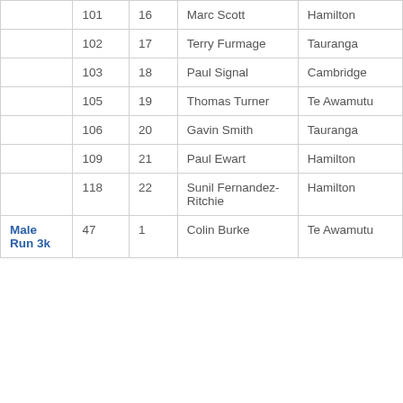| Category | Bib | Place | Name | Club |
| --- | --- | --- | --- | --- |
|  | 101 | 16 | Marc Scott | Hamilton |
|  | 102 | 17 | Terry Furmage | Tauranga |
|  | 103 | 18 | Paul Signal | Cambridge |
|  | 105 | 19 | Thomas Turner | Te Awamutu |
|  | 106 | 20 | Gavin Smith | Tauranga |
|  | 109 | 21 | Paul Ewart | Hamilton |
|  | 118 | 22 | Sunil Fernandez-Ritchie | Hamilton |
| Male Run 3k | 47 | 1 | Colin Burke | Te Awamutu |